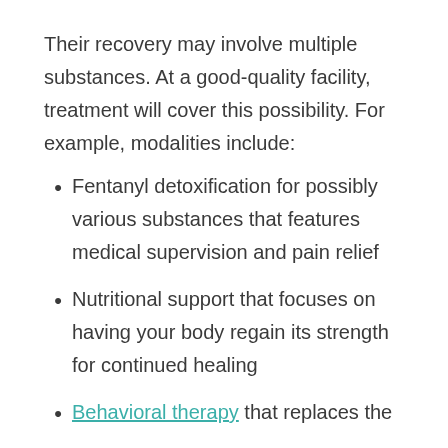Their recovery may involve multiple substances. At a good-quality facility, treatment will cover this possibility. For example, modalities include:
Fentanyl detoxification for possibly various substances that features medical supervision and pain relief
Nutritional support that focuses on having your body regain its strength for continued healing
Behavioral therapy that replaces the